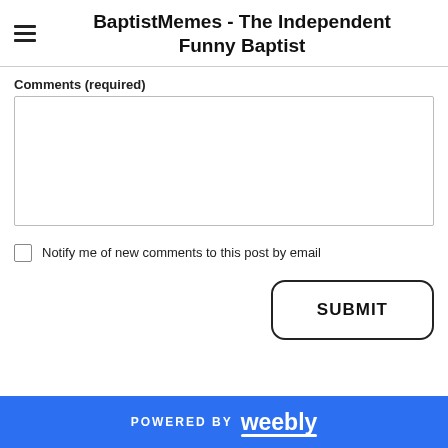BaptistMemes - The Independent Funny Baptist
Comments (required)
[Figure (screenshot): Empty comment text area input box]
Notify me of new comments to this post by email
[Figure (screenshot): SUBMIT button with rounded rectangle border]
POWERED BY weebly